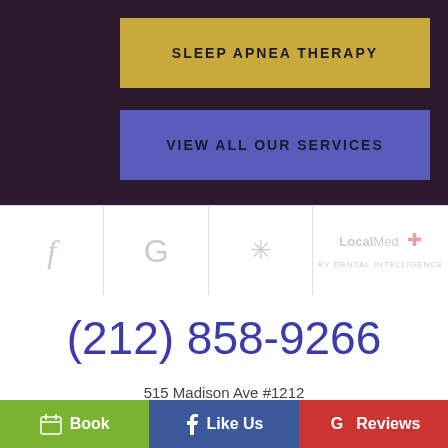SLEEP APNEA THERAPY
VIEW ALL OUR SERVICES
[Figure (infographic): Social media icons row: Facebook (f), Google (G), Yelp, LocalMed by Dental Intelligence logo]
(212) 858-9266
515 Madison Ave #1212
New York, NY 10022
Book
Like Us
Reviews